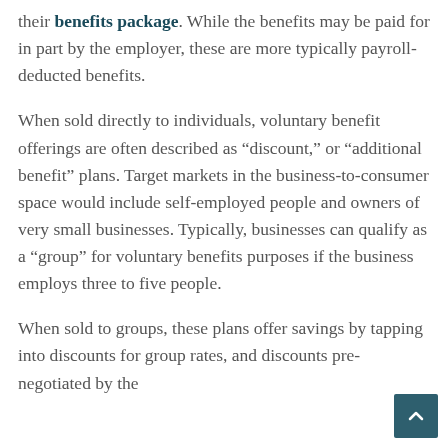their benefits package. While the benefits may be paid for in part by the employer, these are more typically payroll-deducted benefits.
When sold directly to individuals, voluntary benefit offerings are often described as “discount,” or “additional benefit” plans. Target markets in the business-to-consumer space would include self-employed people and owners of very small businesses. Typically, businesses can qualify as a “group” for voluntary benefits purposes if the business employs three to five people.
When sold to groups, these plans offer savings by tapping into discounts for group rates, and discounts pre-negotiated by the